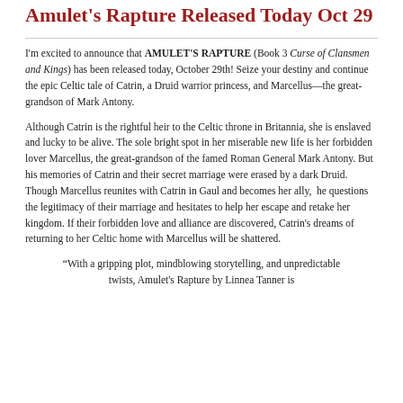Amulet's Rapture Released Today Oct 29
I'm excited to announce that AMULET'S RAPTURE (Book 3 Curse of Clansmen and Kings) has been released today, October 29th! Seize your destiny and continue the epic Celtic tale of Catrin, a Druid warrior princess, and Marcellus—the great-grandson of Mark Antony.
Although Catrin is the rightful heir to the Celtic throne in Britannia, she is enslaved and lucky to be alive. The sole bright spot in her miserable new life is her forbidden lover Marcellus, the great-grandson of the famed Roman General Mark Antony. But his memories of Catrin and their secret marriage were erased by a dark Druid. Though Marcellus reunites with Catrin in Gaul and becomes her ally,  he questions the legitimacy of their marriage and hesitates to help her escape and retake her kingdom. If their forbidden love and alliance are discovered, Catrin's dreams of returning to her Celtic home with Marcellus will be shattered.
“With a gripping plot, mindblowing storytelling, and unpredictable twists, Amulet's Rapture by Linnea Tanner is